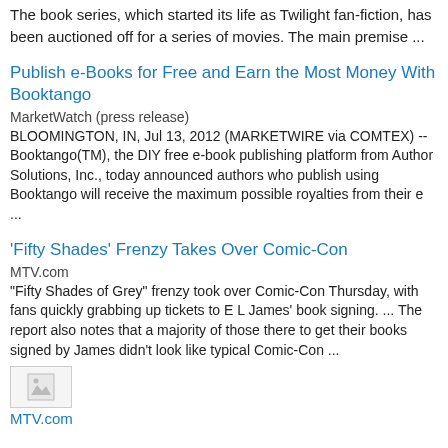The book series, which started its life as Twilight fan-fiction, has been auctioned off for a series of movies. The main premise ...
Publish e-Books for Free and Earn the Most Money With Booktango
MarketWatch (press release)
BLOOMINGTON, IN, Jul 13, 2012 (MARKETWIRE via COMTEX) -- Booktango(TM), the DIY free e-book publishing platform from Author Solutions, Inc., today announced authors who publish using Booktango will receive the maximum possible royalties from their e ...
'Fifty Shades' Frenzy Takes Over Comic-Con
MTV.com
"Fifty Shades of Grey" frenzy took over Comic-Con Thursday, with fans quickly grabbing up tickets to E L James' book signing. ... The report also notes that a majority of those there to get their books signed by James didn't look like typical Comic-Con ...
[Figure (photo): Broken/missing image placeholder thumbnail]
MTV.com